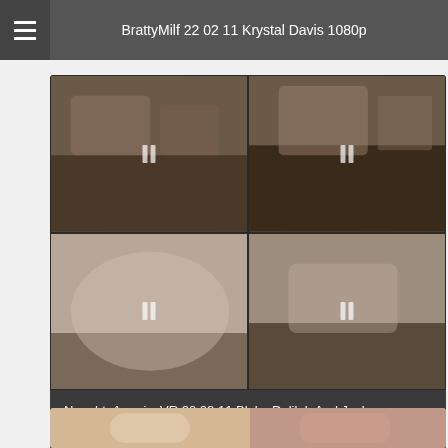BrattyMilf 22 02 11 Krystal Davis 1080p
[Figure (screenshot): 2x2 grid of video thumbnails showing NaughtyAmericaVR content]
NaughtyAmericaVR 22 02 11 Blake Delilah And Jazlyn Smartphone60 VR XXX 1080p MP4 NAUGHTYBLOG
[Figure (screenshot): Partial thumbnail of another video at the bottom of the page]